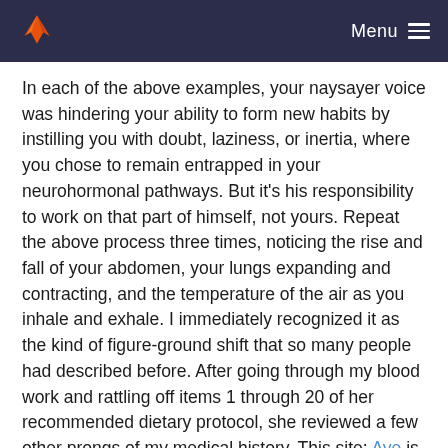Menu
In each of the above examples, your naysayer voice was hindering your ability to form new habits by instilling you with doubt, laziness, or inertia, where you chose to remain entrapped in your neurohormonal pathways. But it's his responsibility to work on that part of himself, not yours. Repeat the above process three times, noticing the rise and fall of your abdomen, your lungs expanding and contracting, and the temperature of the air as you inhale and exhale. I immediately recognized it as the kind of figure-ground shift that so many people had described before. After going through my blood work and rattling off items 1 through 20 of her recommended dietary protocol, she reviewed a few other prongs of my medical history. This site: Aye is full of sassy and actionable advice for anyone wanting to build a business, focus, and overcome their limiting beliefs.
I had a sore throat. Even with all of her extra effort the start-up might make it or it might not. Thought precedes movement. For much of my life, I had been one of those people whose skin had never fully fitted, and yet in the winter water, in an odd-looking